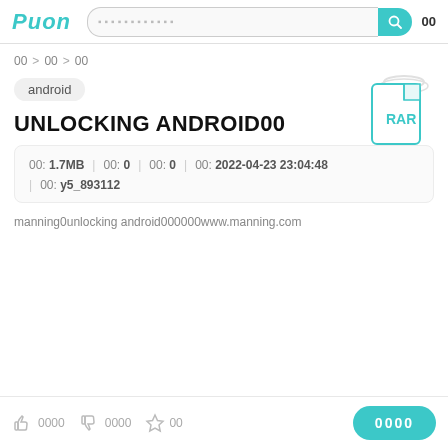PUON  [search bar]  00
00 > 00 > 00
[Figure (illustration): RAR file icon - document shape with folded corner, teal border, RAR label in teal]
android
UNLOCKING ANDROID00
00: 1.7MB  |  00: 0  |  00: 0  |  00: 2022-04-23 23:04:48  |  00: y5_893112
manning0unlocking android000000www.manning.com
0000  0000  00   [download button] 0000